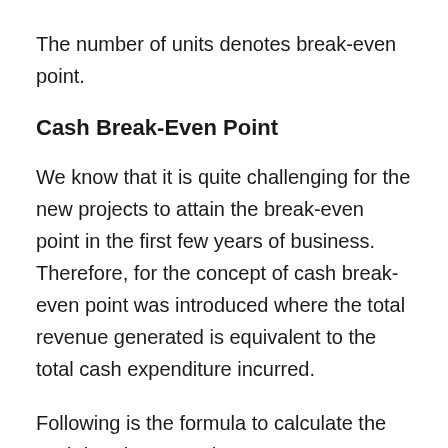The number of units denotes break-even point.
Cash Break-Even Point
We know that it is quite challenging for the new projects to attain the break-even point in the first few years of business. Therefore, for the concept of cash break-even point was introduced where the total revenue generated is equivalent to the total cash expenditure incurred.
Following is the formula to calculate the cash break-even point: